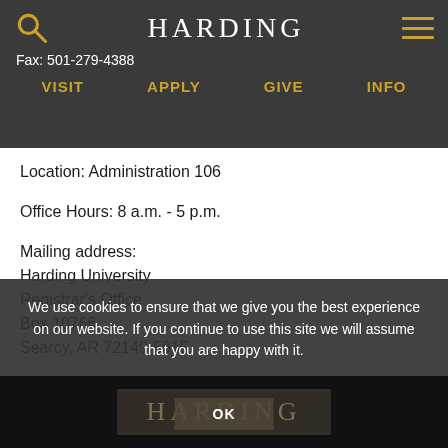HARDING
Fax: 501-279-4388
VISIT   APPLY   GIVE   INFO
Location: Administration 106
Office Hours: 8 a.m. - 5 p.m.
Mailing address:
Harding University
Registrar's Office
Box 10766
Searcy, AR 72149-5615
We use cookies to ensure that we give you the best experience on our website. If you continue to use this site we will assume that you are happy with it.
HARDING